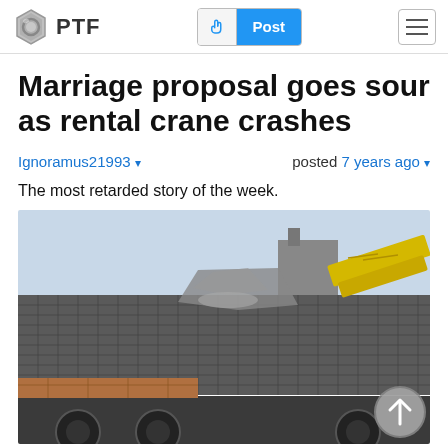PTF — Post (navigation bar with logo, post button, hamburger menu)
Marriage proposal goes sour as rental crane crashes
Ignoramus21993 ▾   posted 7 years ago ▾
The most retarded story of the week.
[Figure (photo): Photo of a yellow rental crane crashed into a damaged tiled roof of a residential building. Rubble and broken tiles are visible. A scroll-up circular button overlay is in the bottom-right corner of the image.]